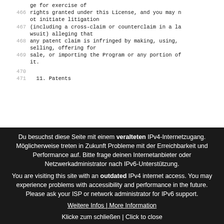ge for exercise of
466  rights granted under this License, and you may not initiate litigation
467  (including a cross-claim or counterclaim in a lawsuit) alleging that
468  any patent claim is infringed by making, using, selling, offering for
469  sale, or importing the Program or any portion of it.
470  (blank)
471  11. Patents
Du besuchst diese Seite mit einem veralteten IPv4-Internetzugang. Möglicherweise treten in Zukunft Probleme mit der Erreichbarkeit und Performance auf. Bitte frage deinen Internetanbieter oder Netzwerkadministrator nach IPv6-Unterstützung. You are visiting this site with an outdated IPv4 internet access. You may experience problems with accessibility and performance in the future. Please ask your ISP or network administrator for IPv6 support. Weitere Infos | More Information Klicke zum schließen | Click to close